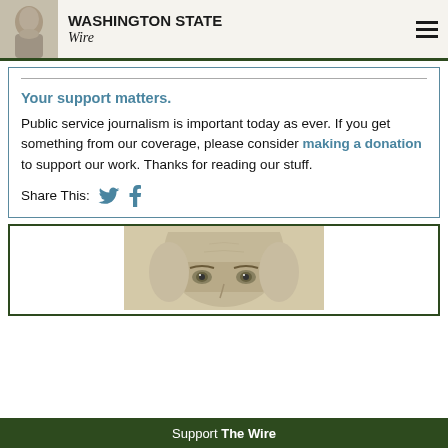WASHINGTON STATE Wire
Your support matters.
Public service journalism is important today as ever. If you get something from our coverage, please consider making a donation to support our work. Thanks for reading our stuff.
Share This:
[Figure (illustration): Partial portrait illustration of George Washington from currency, visible from eyes up, centered in promo box]
Support The Wire